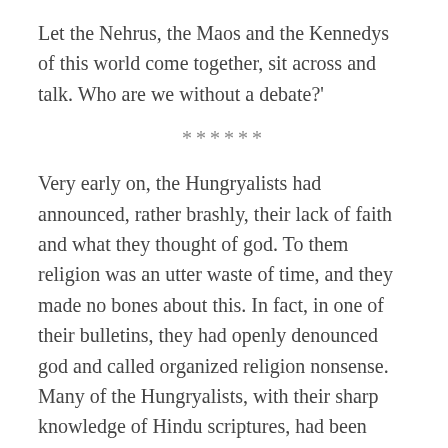Let the Nehrus, the Maos and the Kennedys of this world come together, sit across and talk. Who are we without a debate?'
******
Very early on, the Hungryalists had announced, rather brashly, their lack of faith and what they thought of god. To them religion was an utter waste of time, and they made no bones about this. In fact, in one of their bulletins, they had openly denounced god and called organized religion nonsense. Many of the Hungryalists, with their sharp knowledge of Hindu scriptures, had been challenging temple elders on the different rituals and modes of worship. This came as a shock to many, in a country where religion was very much a part of everyday life—a matter of